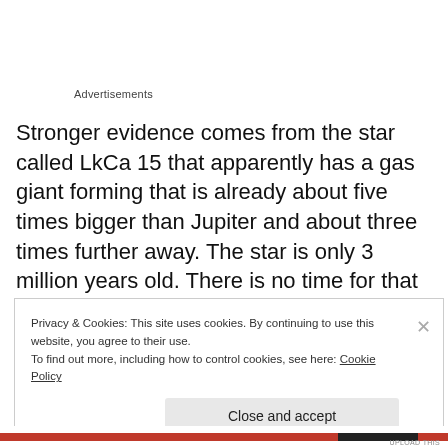Advertisements
Stronger evidence comes from the star called LkCa 15 that apparently has a gas giant forming that is already about five times bigger than Jupiter and about three times further away. The star is only 3 million years old. There is no time for that to have formed by this current theory, particularly since any solid body forming during the
Privacy & Cookies: This site uses cookies. By continuing to use this website, you agree to their use.
To find out more, including how to control cookies, see here: Cookie Policy